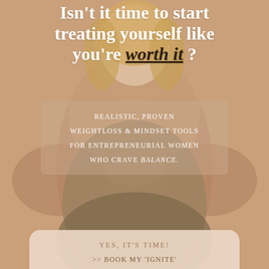Isn't it time to start treating yourself like you're worth it?
REALISTIC, PROVEN WEIGHTLOSS & MINDSET TOOLS FOR ENTREPRENEURIAL WOMEN WHO CRAVE BALANCE.
YES, IT'S TIME!
>> BOOK MY 'IGNITE'